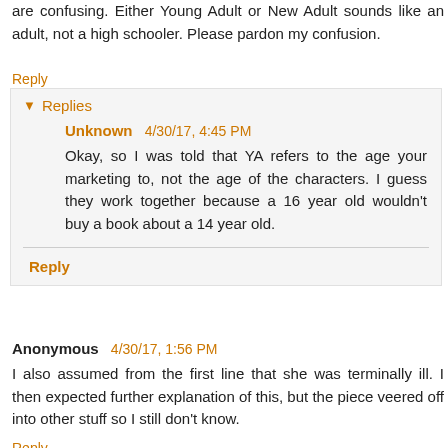are confusing. Either Young Adult or New Adult sounds like an adult, not a high schooler. Please pardon my confusion.
Reply
Replies
Unknown 4/30/17, 4:45 PM
Okay, so I was told that YA refers to the age your marketing to, not the age of the characters. I guess they work together because a 16 year old wouldn't buy a book about a 14 year old.
Reply
Anonymous 4/30/17, 1:56 PM
I also assumed from the first line that she was terminally ill. I then expected further explanation of this, but the piece veered off into other stuff so I still don't know.
Reply